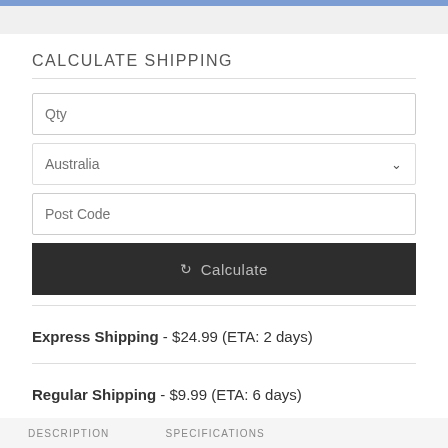CALCULATE SHIPPING
Qty
Australia
Post Code
Calculate
Express Shipping - $24.99 (ETA: 2 days)
Regular Shipping - $9.99 (ETA: 6 days)
DESCRIPTION   SPECIFICATIONS